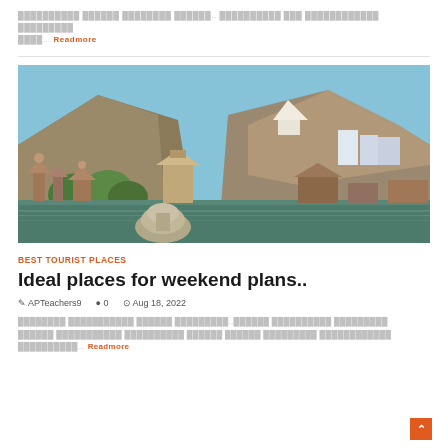██████████ ██████ ████████ ██████.. ██████████ ███ ████████████ █████████ ████... Readmore
[Figure (photo): Scenic photo of an Indian lake with ancient temples and pavilions in the foreground, a large rocky mountain with a white structure in the background, and blue sky above. Likely Alwar, Rajasthan, India.]
BEST TOURIST PLACES
Ideal places for weekend plans..
APTeachers9   0   Aug 18, 2022
████████ ███████████ ██████ █████████..██████ ██████████ █████████ ██████ ██████ ████████████████████████████████████████████████████████████... Readmore